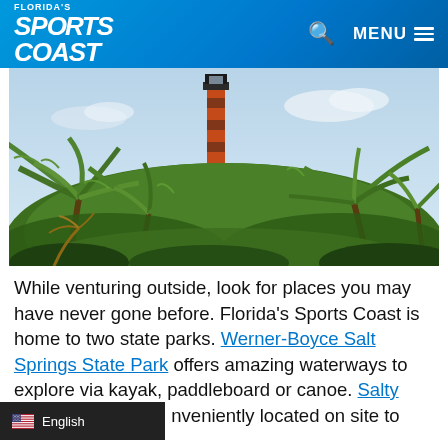Florida's Sports Coast | MENU
[Figure (photo): A red-orange lighthouse rising above dense tropical palm trees and green foliage against a partly cloudy sky.]
While venturing outside, look for places you may have never gone before. Florida's Sports Coast is home to two state parks. Werner-Boyce Salt Springs State Park offers amazing waterways to explore via kayak, paddleboard or canoe. Salty Dog Kayak [is] conveniently located on site to [serve you]. Family...